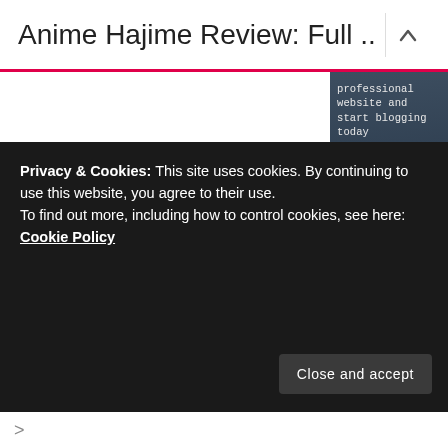Anime Hajime Review: Full ...
[Figure (screenshot): Dark blue-grey advertisement banner showing partial text 'professional website and start blogging today' with a white 'Get started' button]
Privacy & Cookies: This site uses cookies. By continuing to use this website, you agree to their use.
To find out more, including how to control cookies, see here: Cookie Policy
Close and accept